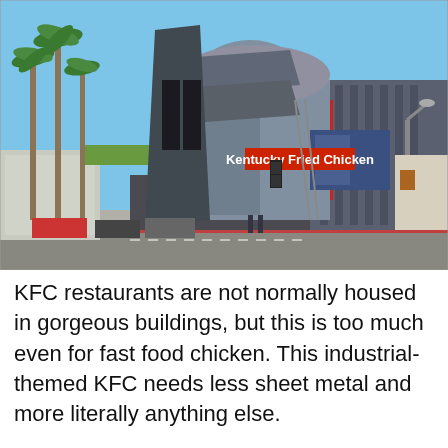[Figure (photo): Photograph of an industrial-themed KFC restaurant building with distinctive sheet metal exterior, curved and angular architecture, palm trees on the left, a street lamp on the right, cars parked in front, and a blue sky background. The KFC 'Kentucky Fried Chicken' sign is visible on the building.]
KFC restaurants are not normally housed in gorgeous buildings, but this is too much even for fast food chicken. This industrial-themed KFC needs less sheet metal and more literally anything else.
The building was designed in the 1980s by a KFC franchisee, who, surprisingly, managed to get the OK